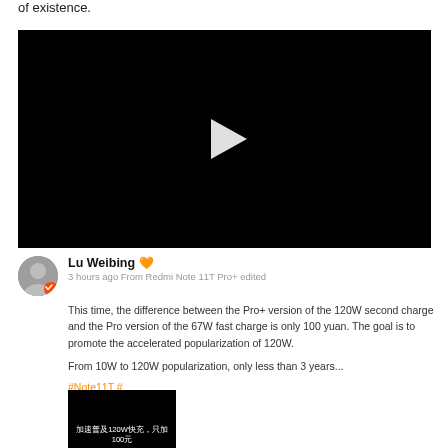of existence.
[Figure (screenshot): Black video player with white play button triangle in center]
Lu Weibing 🧡
3 hours ago From Redmi Note 11T Pro+ edited
This time, the difference between the Pro+ version of the 120W second charge and the Pro version of the 67W fast charge is only 100 yuan. The goal is to promote the accelerated popularization of 120W.

From 10W to 120W popularization, only less than 3 years...
#Note11T #
[Figure (screenshot): Dark background image with Chinese text overlay reading: 加速普及120W快充，只加100元]